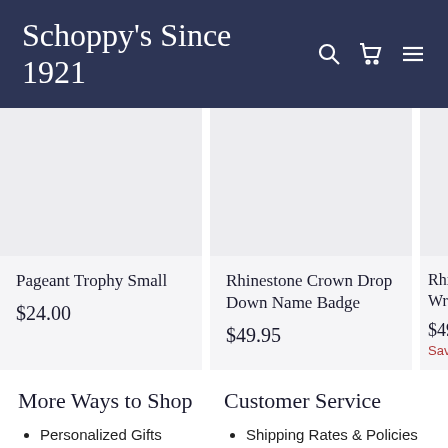Schoppy's Since 1921
[Figure (screenshot): Product card: Pageant Trophy Small, $24.00]
[Figure (screenshot): Product card: Rhinestone Crown Drop Down Name Badge, $49.95]
[Figure (screenshot): Product card partial: Rhinestone ... Wrist... $49.9... Save $... SALE badge]
More Ways to Shop
Customer Service
Personalized Gifts
Signage
Shipping Rates & Policies
Privacy & Security